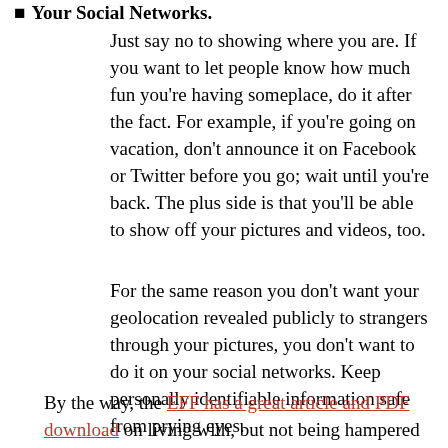Your Social Networks:
Just say no to showing where you are. If you want to let people know how much fun you're having someplace, do it after the fact. For example, if you're going on vacation, don't announce it on Facebook or Twitter before you go; wait until you're back. The plus side is that you'll be able to show off your pictures and videos, too.
For the same reason you don't want your geolocation revealed publicly to strangers through your pictures, you don't want to do it on your social networks. Keep personally identifiable information safe from prying eyes.
By the way, the EFF has a great article and PDF download on living with, but not being hampered by,